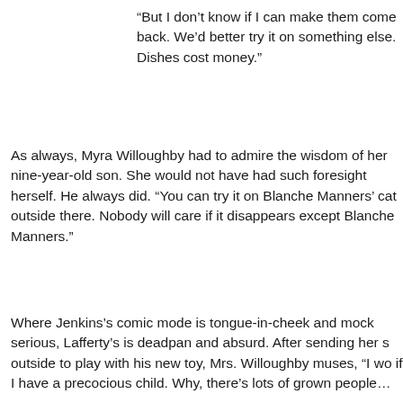“But I don’t know if I can make them come back. We’d better try it on something else. Dishes cost money.”
As always, Myra Willoughby had to admire the wisdom of her nine-year-old son. She would not have had such foresight herself. He always did. “You can try it on Blanche Manners’ cat outside there. Nobody will care if it disappears except Blanche Manners.”
Where Jenkins’s comic mode is tongue-in-cheek and mock serious, Lafferty’s is deadpan and absurd. After sending her s outside to play with his new toy, Mrs. Willoughby muses, “I wo if I have a precocious child. Why, there’s lots of grown people…